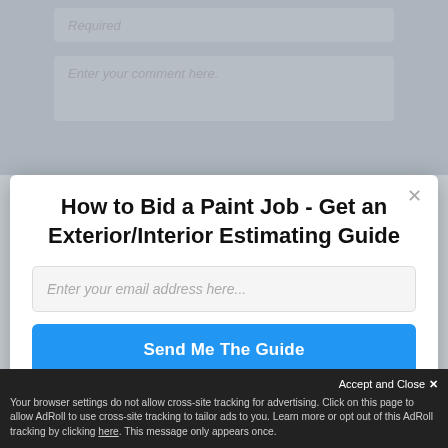[Figure (screenshot): Background page showing form fields partially visible: a 'Required' labeled field and an 'Enter your comment here.' text area, grayed out behind a modal overlay.]
How to Bid a Paint Job - Get an Exterior/Interior Estimating Guide
Enter your email address here...
Send Me The Guide
Accept and Close ×
Your browser settings do not allow cross-site tracking for advertising. Click on this page to allow AdRoll to use cross-site tracking to tailor ads to you. Learn more or opt out of this AdRoll tracking by clicking here. This message only appears once.